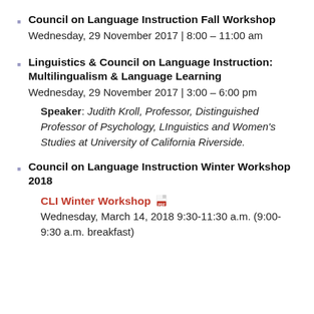Council on Language Instruction Fall Workshop
Wednesday, 29 November 2017 | 8:00 – 11:00 am
Linguistics & Council on Language Instruction: Multilingualism & Language Learning
Wednesday, 29 November 2017 | 3:00 – 6:00 pm
Speaker: Judith Kroll, Professor, Distinguished Professor of Psychology, LInguistics and Women's Studies at University of California Riverside.
Council on Language Instruction Winter Workshop 2018
CLI Winter Workshop [PDF icon]
Wednesday, March 14, 2018 9:30-11:30 a.m. (9:00-9:30 a.m. breakfast)